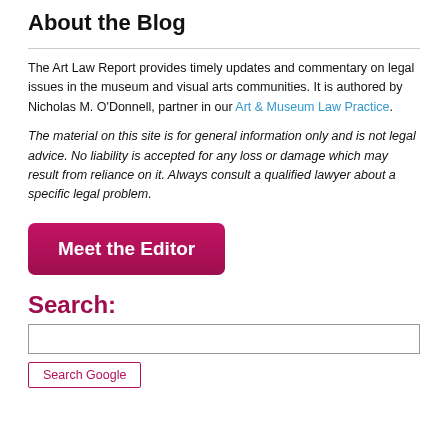About the Blog
The Art Law Report provides timely updates and commentary on legal issues in the museum and visual arts communities. It is authored by Nicholas M. O'Donnell, partner in our Art & Museum Law Practice.
The material on this site is for general information only and is not legal advice. No liability is accepted for any loss or damage which may result from reliance on it. Always consult a qualified lawyer about a specific legal problem.
[Figure (other): Pink/magenta rounded rectangle button labeled 'Meet the Editor' in white bold text]
Search:
[Figure (other): Search input text box]
[Figure (other): Search Google button with magenta border and text]